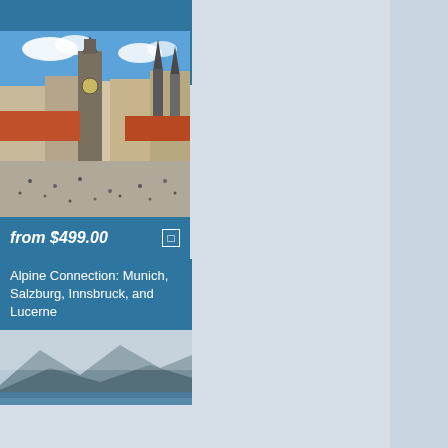from $415.00
Highlights of Prague
[Figure (photo): Aerial view of Prague Old Town Square with the Astronomical Clock tower and Týn Church in the background, crowded square with tourists]
from $499.00
Alpine Connection: Munich, Salzburg, Innsbruck, and Lucerne
[Figure (photo): Alpine landscape with mountain lake, misty hills and town in the distance]